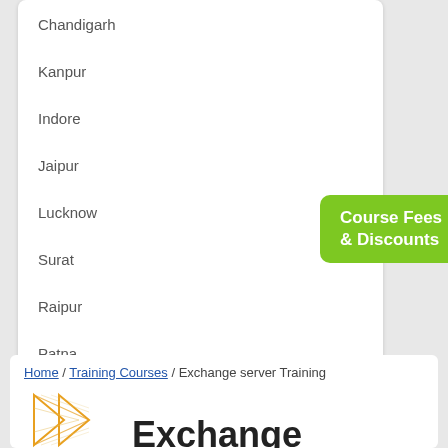Chandigarh
Kanpur
Indore
Jaipur
Lucknow
Surat
Raipur
Patna
Agra
[Figure (other): Green badge/button with text 'Course Fees & Discounts']
Home / Training Courses / Exchange server Training
[Figure (logo): Exchange server logo — orange/yellow geometric arrow shape]
Exchange